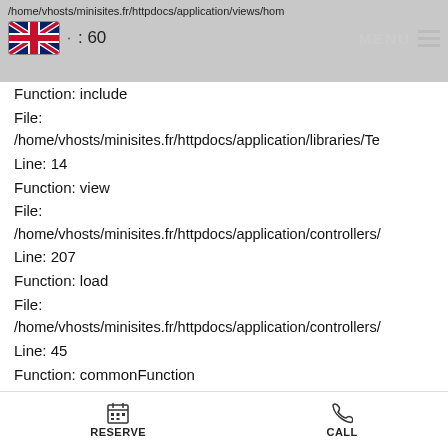/home/vhosts/minisites.fr/httpdocs/application/views/hom
: 60   MENU
Function: include
File:
/home/vhosts/minisites.fr/httpdocs/application/libraries/Te
Line: 14
Function: view
File:
/home/vhosts/minisites.fr/httpdocs/application/controllers/
Line: 207
Function: load
File:
/home/vhosts/minisites.fr/httpdocs/application/controllers/
Line: 45
Function: commonFunction
File:
/home/vhosts/minisites.fr/httpdocs/index.php
Line: 276
RESERVE   CALL